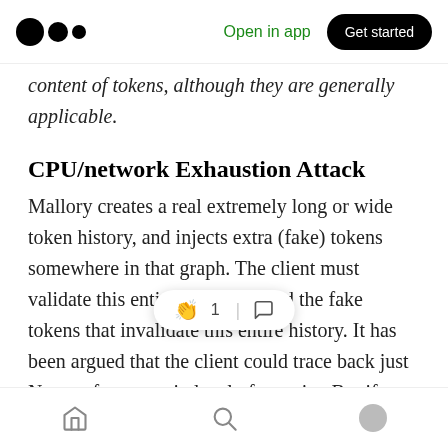Open in app | Get started
content of tokens, although they are generally applicable.
CPU/network Exhaustion Attack
Mallory creates a real extremely long or wide token history, and injects extra (fake) tokens somewhere in that graph. The client must validate this entire history to find the fake tokens that invalidate this entire history. It has been argued that the client could trace back just N steps for a certain level of security. But if Mallory knows or can disc inject fake tokens at N+1 to “print” tokens